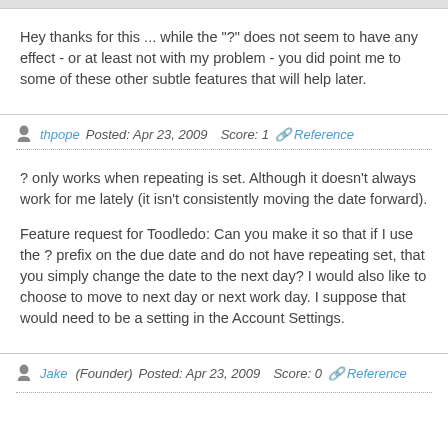Hey thanks for this ... while the "?" does not seem to have any effect - or at least not with my problem - you did point me to some of these other subtle features that will help later.
thpope  Posted: Apr 23, 2009  Score: 1  Reference
? only works when repeating is set. Although it doesn't always work for me lately (it isn't consistently moving the date forward).

Feature request for Toodledo: Can you make it so that if I use the ? prefix on the due date and do not have repeating set, that you simply change the date to the next day? I would also like to choose to move to next day or next work day. I suppose that would need to be a setting in the Account Settings.
Jake (Founder)  Posted: Apr 23, 2009  Score: 0  Reference